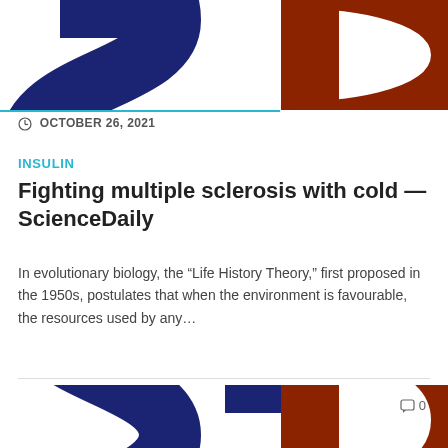[Figure (logo): ScienceDaily logo letters SD in dark navy blue and dark red/brown, cropped at top of page]
OCTOBER 26, 2021
INSULIN
Fighting multiple sclerosis with cold — ScienceDaily
In evolutionary biology, the “Life History Theory,” first proposed in the 1950s, postulates that when the environment is favourable, the resources used by any…
[Figure (logo): ScienceDaily logo letters SD in dark navy blue and dark red/brown, cropped at bottom of page]
💬 0